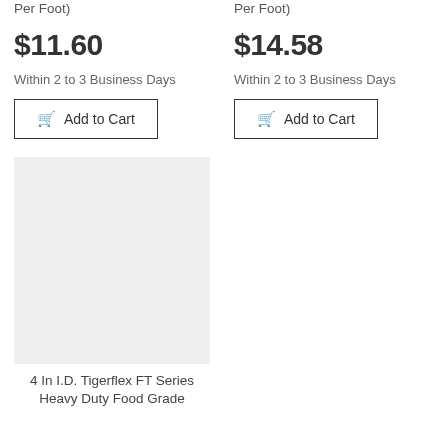Per Foot)
$11.60
Within 2 to 3 Business Days
Add to Cart
Per Foot)
$14.58
Within 2 to 3 Business Days
Add to Cart
[Figure (photo): Product image placeholder for 4 In I.D. Tigerflex FT Series Heavy Duty Food Grade hose, shown as a light grey rectangle]
4 In I.D. Tigerflex FT Series Heavy Duty Food Grade